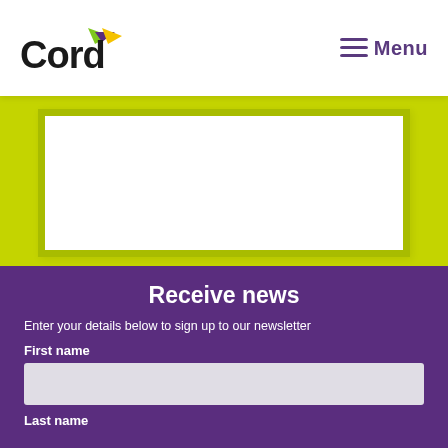Cord | Menu
[Figure (illustration): White rectangle with lime green border on lime green background, representing a content image placeholder area]
Receive news
Enter your details below to sign up to our newsletter
First name
Last name